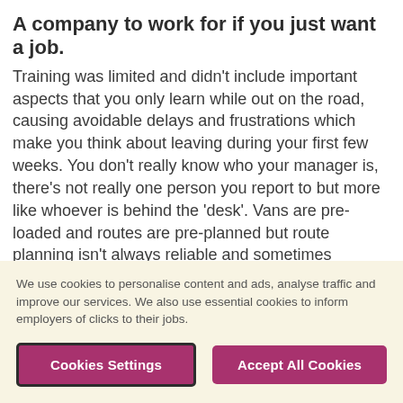A company to work for if you just want a job.
Training was limited and didn't include important aspects that you only learn while out on the road, causing avoidable delays and frustrations which make you think about leaving during your first few weeks. You don't really know who your manager is, there's not really one person you report to but more like whoever is behind the 'desk'. Vans are pre-loaded and routes are pre-planned but route planning isn't always reliable and sometimes contradicts training e.g. some routes you have deliveries that are bound to be late before you even leave the depot, some require delivery
We use cookies to personalise content and ads, analyse traffic and improve our services. We also use essential cookies to inform employers of clicks to their jobs.